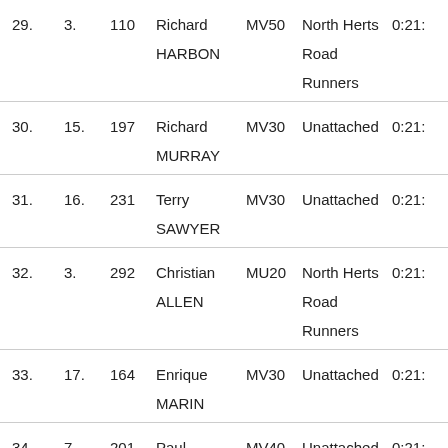| Pos | Cat Pos | Bib | Name | Cat | Club | Time |
| --- | --- | --- | --- | --- | --- | --- |
| 29. | 3. | 110 | Richard HARBON | MV50 | North Herts Road Runners | 0:21:... |
| 30. | 15. | 197 | Richard MURRAY | MV30 | Unattached | 0:21:... |
| 31. | 16. | 231 | Terry SAWYER | MV30 | Unattached | 0:21:... |
| 32. | 3. | 292 | Christian ALLEN | MU20 | North Herts Road Runners | 0:21:... |
| 33. | 17. | 164 | Enrique MARIN | MV30 | Unattached | 0:21:... |
| 34. | 7. | 201 | Paul ... | MV40 | Unattached... | 0:21:... |